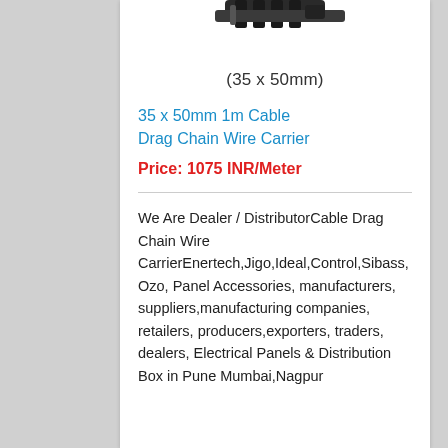[Figure (photo): Partial image of a cable drag chain wire carrier connector at the top of the card]
(35 x 50mm)
35 x 50mm 1m Cable Drag Chain Wire Carrier
Price: 1075 INR/Meter
We Are Dealer / DistributorCable Drag Chain Wire CarrierEnertech,Jigo,Ideal,Control,Sibass,Ozo, Panel Accessories, manufacturers, suppliers,manufacturing companies, retailers, producers,exporters, traders, dealers, Electrical Panels & Distribution Box in Pune Mumbai,Nagpur